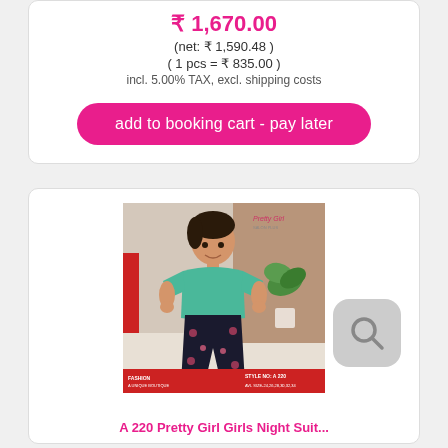₹ 1,670.00
(net: ₹ 1,590.48 )
( 1 pcs = ₹ 835.00 )
incl. 5.00% TAX, excl. shipping costs
add to booking cart - pay later
[Figure (photo): Girl wearing teal t-shirt and black floral pants, Pretty Girl brand, Style No: A 220, Available sizes 24,26,28,30,32,34]
A 220 Pretty Girl Girls Night Suit...